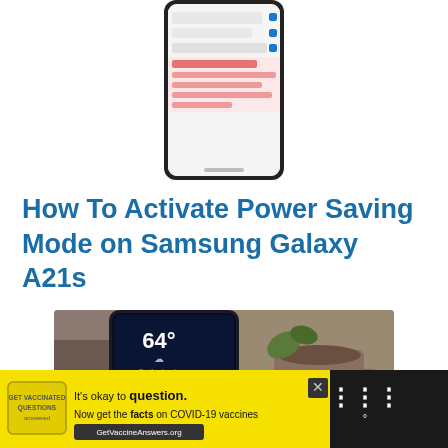[Figure (screenshot): Screenshot of a Samsung phone showing settings menu, partially cropped at top of page]
How To Activate Power Saving Mode on Samsung Galaxy A21s
[Figure (photo): Photo of a Samsung Galaxy smartphone lying on a surface next to a coffee mug, showing the home screen with weather widget and app icons]
[Figure (screenshot): Advertisement banner: It's okay to question. Now get the facts on COVID-19 vaccines. GetVaccineAnswers.org]